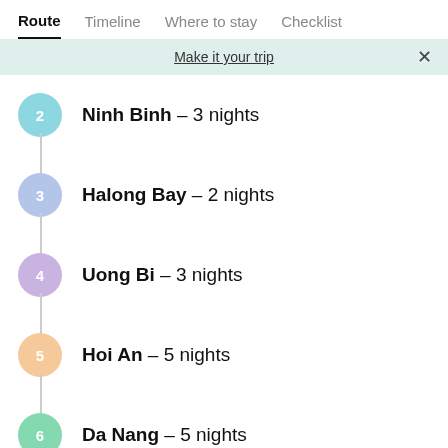Route  Timeline  Where to stay  Checklist
Make it your trip
2  Ninh Binh – 3 nights
3  Halong Bay – 2 nights
4  Uong Bi – 3 nights
5  Hoi An – 5 nights
6  Da Nang – 5 nights
7  Hanoi – 3 nights